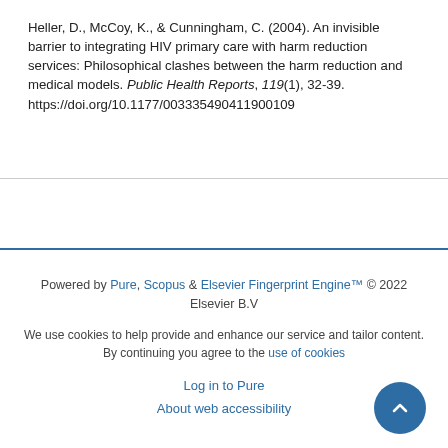Heller, D., McCoy, K., & Cunningham, C. (2004). An invisible barrier to integrating HIV primary care with harm reduction services: Philosophical clashes between the harm reduction and medical models. Public Health Reports, 119(1), 32-39. https://doi.org/10.1177/003335490411900109
Powered by Pure, Scopus & Elsevier Fingerprint Engine™ © 2022 Elsevier B.V

We use cookies to help provide and enhance our service and tailor content. By continuing you agree to the use of cookies

Log in to Pure

About web accessibility